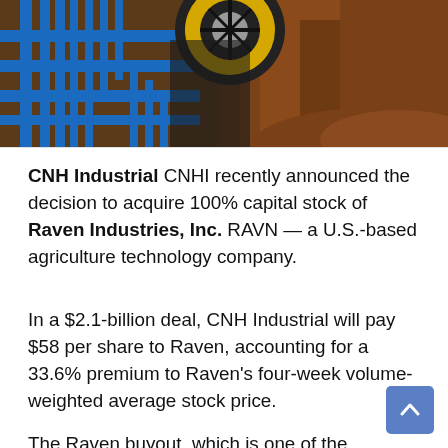[Figure (photo): Photograph of agricultural machinery (blue tractor/planter equipment) working in brown soil, with a yellow wheel visible and green tractor in background.]
CNH Industrial CNHI recently announced the decision to acquire 100% capital stock of Raven Industries, Inc. RAVN — a U.S.-based agriculture technology company.
In a $2.1-billion deal, CNH Industrial will pay $58 per share to Raven, accounting for a 33.6% premium to Raven's four-week volume-weighted average stock price.
The Raven buyout, which is one of the largest acquisition deals for CNH Industrial since it was formed in 2013, requires approval from Raven shareholders. The transaction, expected to